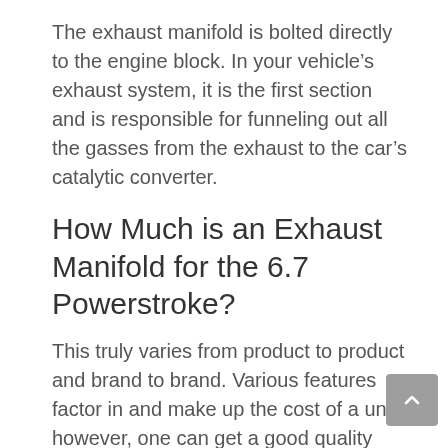The exhaust manifold is bolted directly to the engine block. In your vehicle's exhaust system, it is the first section and is responsible for funneling out all the gasses from the exhaust to the car's catalytic converter.
How Much is an Exhaust Manifold for the 6.7 Powerstroke?
This truly varies from product to product and brand to brand. Various features factor in and make up the cost of a unit; however, one can get a good quality exhaust manifold from $100 to $450.